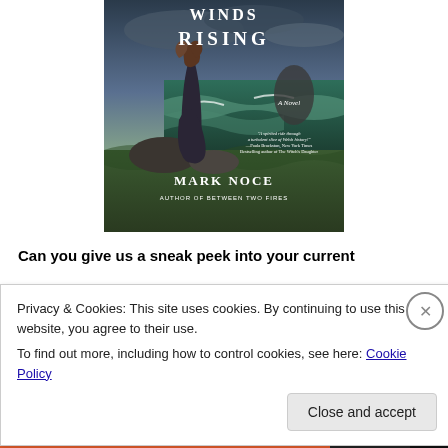[Figure (photo): Book cover of 'Winds Rising' showing a woman in a dark dress standing on rocky coastal cliffs with stormy seas and dramatic sky. Text reads 'WINDS RISING', 'A Novel', 'MARK NOCE', 'AUTHOR OF BETWEEN TWO FIRES'. A blurb quote is visible on the lower right.]
Can you give us a sneak peek into your current
Privacy & Cookies: This site uses cookies. By continuing to use this website, you agree to their use.
To find out more, including how to control cookies, see here: Cookie Policy
Close and accept